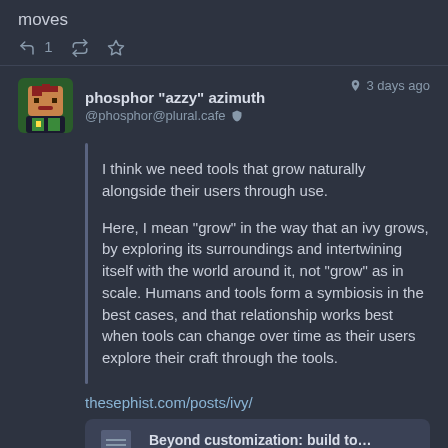moves
↩ 1  🔁  ★
phosphor "azzy" azimuth @phosphor@plural.cafe 🔒 — 3 days ago
I think we need tools that grow naturally alongside their users through use.

Here, I mean “grow” in the way that an ivy grows, by exploring its surroundings and intertwining itself with the world around it, not “grow” as in scale. Humans and tools form a symbiosis in the best cases, and that relationship works best when tools can change over time as their users explore their craft through the tools.
thesephist.com/posts/ivy/
Beyond customization: build to...
thesephist.com